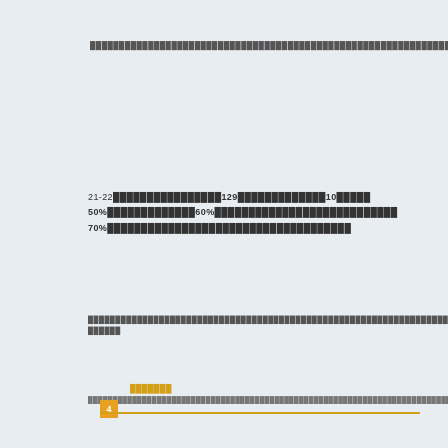██████████████████████████████████████████████ ████████████████████████
21-22████████████129█████████████10█████50%██████████60%██████████████████████████70%████████████████████████████████████
██████████████████████████████████████████████ █████
███████
4
████████████████████████████████████████████████